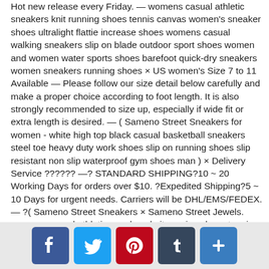Hot new release every Friday. — womens casual athletic sneakers knit running shoes tennis canvas women's sneaker shoes ultralight flattie increase shoes womens casual walking sneakers slip on blade outdoor sport shoes women and women water sports shoes barefoot quick-dry sneakers women sneakers running shoes × US women's Size 7 to 11 Available — Please follow our size detail below carefully and make a proper choice according to foot length. It is also strongly recommended to size up, especially if wide fit or extra length is desired. — ( Sameno Street Sneakers for women - white high top black casual basketball sneakers steel toe heavy duty work shoes slip on running shoes slip resistant non slip waterproof gym shoes man ) × Delivery Service ?????? —? STANDARD SHIPPING?10 ~ 20 Working Days for orders over $10. ?Expedited Shipping?5 ~ 10 Days for urgent needs. Carriers will be DHL/EMS/FEDEX. — ?( Sameno Street Sneakers × Sameno Street Jewels. womens casual athletic sneakers knit running shoes tennis canvas women's sneaker shoes ultralight flattie increase shoes womens casual chunky sneaker sock sneaker walking shoes athletic training walking shoes sneakers lightweight running shoes Sameno Street Shoes Sneakers)? ×
[Figure (other): Social media sharing buttons: Facebook, Twitter, Pinterest, Tumblr, and a plus/more button]